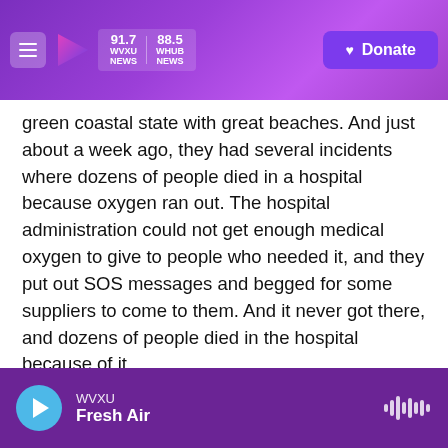WVXU 91.7 NEWS | WHUB 88.5 NEWS | Donate
green coastal state with great beaches. And just about a week ago, they had several incidents where dozens of people died in a hospital because oxygen ran out. The hospital administration could not get enough medical oxygen to give to people who needed it, and they put out SOS messages and begged for some suppliers to come to them. And it never got there, and dozens of people died in the hospital because of it.
GROSS: This has been a kind of perverse growth opportunity for the black market. What's happening on the black market?
WVXU Fresh Air